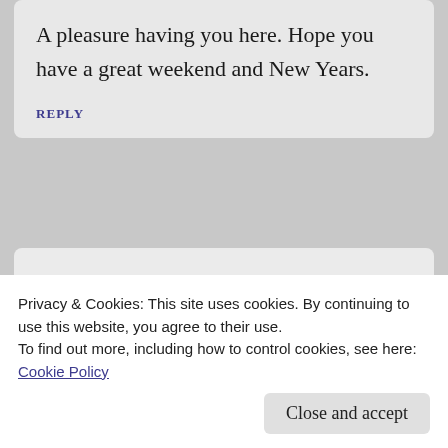A pleasure having you here. Hope you have a great weekend and New Years.
REPLY
Blaze McRob  12/30/2011 — 10:49 am
Privacy & Cookies: This site uses cookies. By continuing to use this website, you agree to their use.
To find out more, including how to control cookies, see here: Cookie Policy
Close and accept